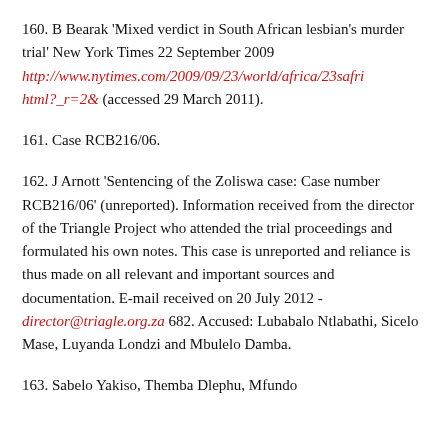160. B Bearak 'Mixed verdict in South African lesbian's murder trial' New York Times 22 September 2009 http://www.nytimes.com/2009/09/23/world/africa/23safric html?_r=2& (accessed 29 March 2011).
161. Case RCB216/06.
162. J Arnott 'Sentencing of the Zoliswa case: Case number RCB216/06' (unreported). Information received from the director of the Triangle Project who attended the trial proceedings and formulated his own notes. This case is unreported and reliance is thus made on all relevant and important sources and documentation. E-mail received on 20 July 2012 - director@triagle.org.za 682. Accused: Lubabalo Ntlabathi, Sicelo Mase, Luyanda Londzi and Mbulelo Damba.
163. Sabelo Yakiso, Themba Dlephu, Mfundo